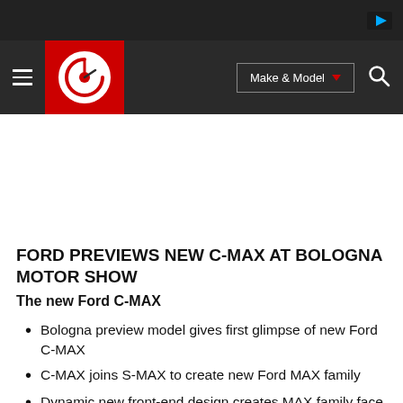[Figure (screenshot): Dark top bar with a small play/video icon on the right side]
Car Throttle navigation bar with hamburger menu, red logo, Make & Model dropdown, and search icon
FORD PREVIEWS NEW C-MAX AT BOLOGNA MOTOR SHOW
The new Ford C-MAX
Bologna preview model gives first glimpse of new Ford C-MAX
C-MAX joins S-MAX to create new Ford MAX family
Dynamic new front-end design creates MAX family face